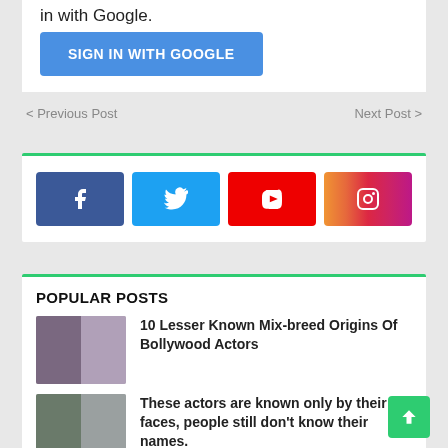in with Google.
[Figure (screenshot): Blue 'SIGN IN WITH GOOGLE' button]
< Previous Post
Next Post >
[Figure (infographic): Social media buttons: Facebook, Twitter, YouTube, Instagram]
POPULAR POSTS
[Figure (photo): Thumbnail image of Bollywood actors]
10 Lesser Known Mix-breed Origins Of Bollywood Actors
[Figure (photo): Thumbnail image of actors]
These actors are known only by their faces, people still don't know their names.